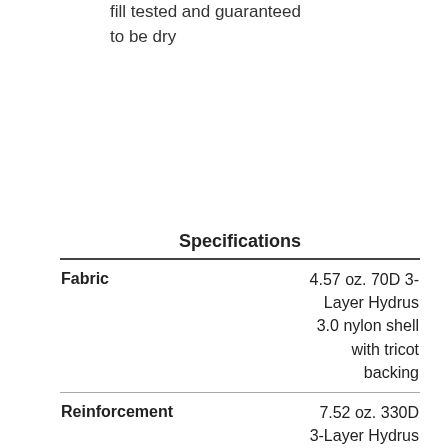fill tested and guaranteed to be dry
|  | Specifications |
| --- | --- |
| Fabric | 4.57 oz. 70D 3-Layer Hydrus 3.0 nylon shell with tricot backing |
| Reinforcement | 7.52 oz. 330D 3-Layer Hydrus Tough seat and knees |
| Entry & Relief | Nylon waterproof |